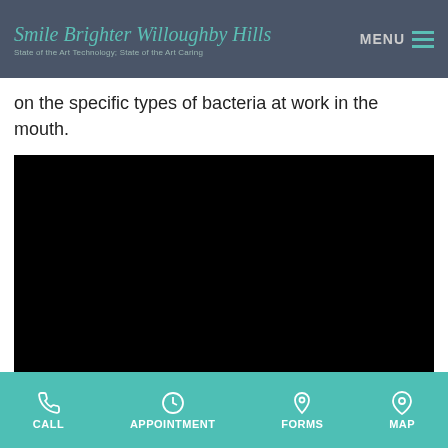Smile Brighter Willoughby Hills | State of the Art Technology; State of the Art Caring | MENU
on the specific types of bacteria at work in the mouth.
[Figure (photo): Black video/image embed area, content not visible]
LOCAL ANESTHETICS
CALL | APPOINTMENT | FORMS | MAP